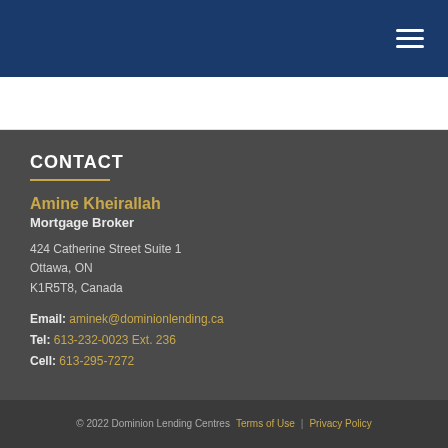Navigation menu header bar with hamburger icon
CONTACT
Amine Kheirallah
Mortgage Broker

424 Catherine Street Suite 1
Ottawa, ON
K1R5T8, Canada

Email: aminek@dominionlending.ca
Tel: 613-232-0023 Ext. 236
Cell: 613-295-7272
© 2022 Dominion Lending Centres   Terms of Use  |  Privacy Policy